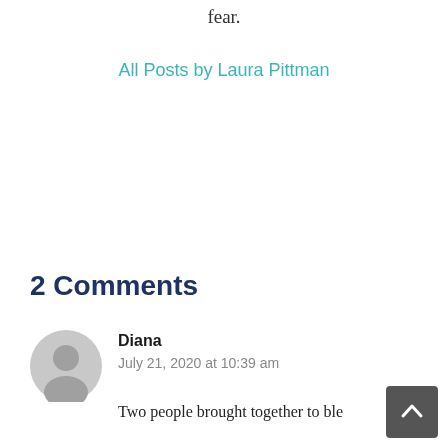fear.
All Posts by Laura Pittman
2 Comments
Diana
July 21, 2020 at 10:39 am
Two people brought together to ble...